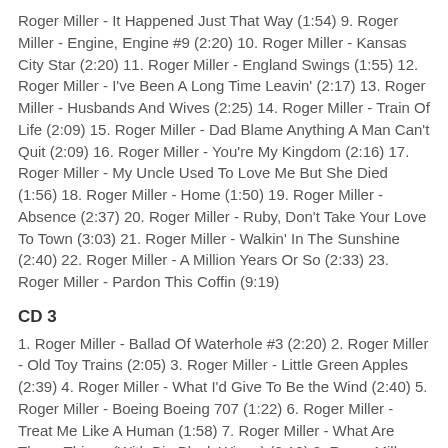Roger Miller - It Happened Just That Way (1:54) 9. Roger Miller - Engine, Engine #9 (2:20) 10. Roger Miller - Kansas City Star (2:20) 11. Roger Miller - England Swings (1:55) 12. Roger Miller - I've Been A Long Time Leavin' (2:17) 13. Roger Miller - Husbands And Wives (2:25) 14. Roger Miller - Train Of Life (2:09) 15. Roger Miller - Dad Blame Anything A Man Can't Quit (2:09) 16. Roger Miller - You're My Kingdom (2:16) 17. Roger Miller - My Uncle Used To Love Me But She Died (1:56) 18. Roger Miller - Home (1:50) 19. Roger Miller - Absence (2:37) 20. Roger Miller - Ruby, Don't Take Your Love To Town (3:03) 21. Roger Miller - Walkin' In The Sunshine (2:40) 22. Roger Miller - A Million Years Or So (2:33) 23. Roger Miller - Pardon This Coffin (9:19)
CD 3
1. Roger Miller - Ballad Of Waterhole #3 (2:20) 2. Roger Miller - Old Toy Trains (2:05) 3. Roger Miller - Little Green Apples (2:39) 4. Roger Miller - What I'd Give To Be the Wind (2:40) 5. Roger Miller - Boeing Boeing 707 (1:22) 6. Roger Miller - Treat Me Like A Human (1:58) 7. Roger Miller - What Are Those Things (With Big Black Wings) (2:10) 8. Roger Miller - Only Daddy That'll Walk the Line (2:08) 9. Roger